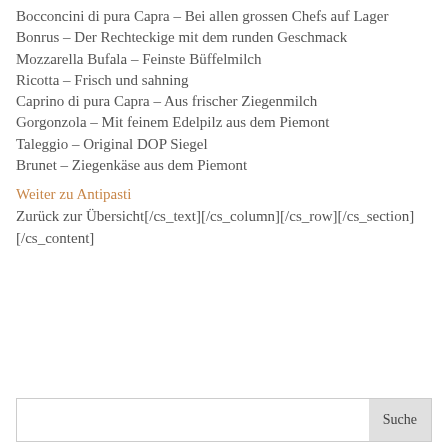Bocconcini di pura Capra – Bei allen grossen Chefs auf Lager
Bonrus – Der Rechteckige mit dem runden Geschmack
Mozzarella Bufala – Feinste Büffelmilch
Ricotta – Frisch und sahning
Caprino di pura Capra – Aus frischer Ziegenmilch
Gorgonzola – Mit feinem Edelpilz aus dem Piemont
Taleggio – Original DOP Siegel
Brunet – Ziegenkäse aus dem Piemont
Weiter zu Antipasti
Zurück zur Übersicht[/cs_text][/cs_column][/cs_row][/cs_section][/cs_content]